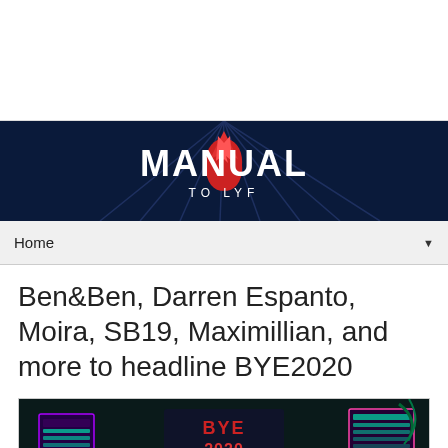[Figure (other): White advertisement space area at top of page]
[Figure (logo): Manual to Lyf website banner logo with dark navy background, decorative geometric lines, red flame icon, and white bold text reading MANUAL TO LYF]
Home ▼
Ben&Ben, Darren Espanto, Moira, SB19, Maximillian, and more to headline BYE2020
[Figure (photo): BYE2020 A Virtual Music Experience promotional image with neon purple/teal colors showing a stylized futuristic venue layout]